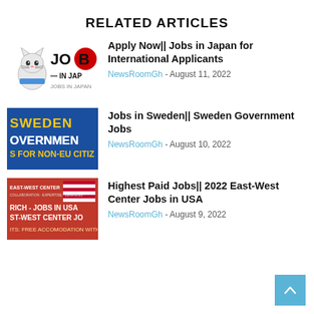RELATED ARTICLES
[Figure (logo): Jobs in Japan logo with cartoon cat and red circle]
Apply Now|| Jobs in Japan for International Applicants
NewsRoomGh - August 11, 2022
[Figure (logo): Sweden Government Jobs banner for non-EU citizens, blue background with yellow text]
Jobs in Sweden|| Sweden Government Jobs
NewsRoomGh - August 10, 2022
[Figure (logo): East-West Center Jobs in USA banner, red background with text about accommodation]
Highest Paid Jobs|| 2022 East-West Center Jobs in USA
NewsRoomGh - August 9, 2022